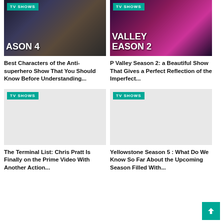[Figure (screenshot): TV show thumbnail with dark moody scene and text 'SEASON 4', badge 'TV SHOWS']
[Figure (screenshot): TV show thumbnail with neon-lit nightclub scene and text 'VALLEY SEASON 2', badge 'TV SHOWS']
Best Characters of the Anti-superhero Show That You Should Know Before Understanding...
P Valley Season 2: a Beautiful Show That Gives a Perfect Reflection of the Imperfect...
[Figure (screenshot): TV show thumbnail placeholder with badge 'TV SHOWS']
[Figure (screenshot): TV show thumbnail placeholder with badge 'TV SHOWS']
The Terminal List: Chris Pratt Is Finally on the Prime Video With Another Action...
Yellowstone Season 5 : What Do We Know So Far About the Upcoming Season Filled With...